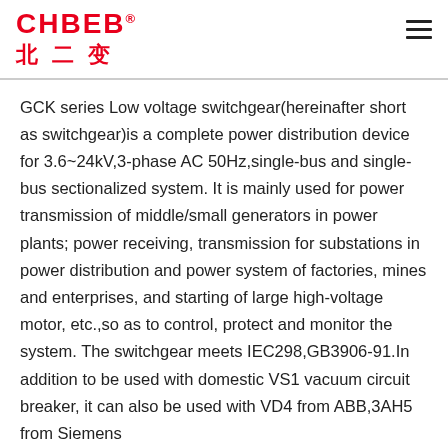CHBEB® 北二变
GCK series Low voltage switchgear(hereinafter short as switchgear)is a complete power distribution device for 3.6~24kV,3-phase AC 50Hz,single-bus and single-bus sectionalized system. It is mainly used for power transmission of middle/small generators in power plants; power receiving, transmission for substations in power distribution and power system of factories, mines and enterprises, and starting of large high-voltage motor, etc.,so as to control, protect and monitor the system. The switchgear meets IEC298,GB3906-91.In addition to be used with domestic VS1 vacuum circuit breaker, it can also be used with VD4 from ABB,3AH5 from Siemens
domestic ZN65A,and VB2 from GE, etc.,it is truly a